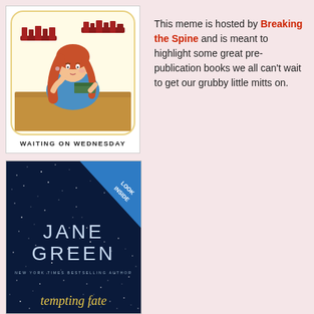[Figure (illustration): Waiting on Wednesday logo — cartoon illustration of a red-haired woman in blue dress reading a book at a table, with bookshelves in background, yellow rounded square frame, text 'WAITING ON WEDNESDAY' below]
[Figure (illustration): Book cover for 'tempting fate' by Jane Green — dark navy starfield background, blue diagonal 'LOOK INSIDE' banner top right, large light-blue author name 'JANE GREEN', 'NEW YORK TIMES BESTSELLING AUTHOR', gold cursive title 'tempting fate']
This meme is hosted by Breaking the Spine and is meant to highlight some great pre-publication books we all can't wait to get our grubby little mitts on.